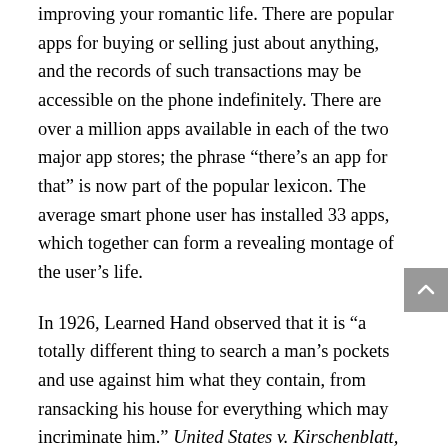improving your romantic life. There are popular apps for buying or selling just about anything, and the records of such transactions may be accessible on the phone indefinitely. There are over a million apps available in each of the two major app stores; the phrase “there’s an app for that” is now part of the popular lexicon. The average smart phone user has installed 33 apps, which together can form a revealing montage of the user’s life.
In 1926, Learned Hand observed that it is “a totally different thing to search a man’s pockets and use against him what they contain, from ransacking his house for everything which may incriminate him.” United States v. Kirschenblatt, 16 F.2d 202, 203 (2d Cir. 1926). If his pockets contain a cell phone, however, that is no longer true. Indeed, a cell phone search would typically expose to the government far more